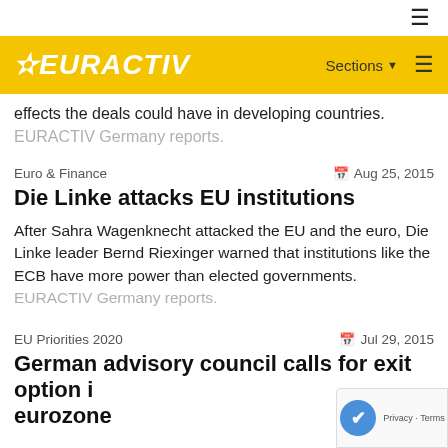[Figure (logo): EURACTIV logo on yellow header bar with Sections dropdown and hamburger menu]
effects the deals could have in developing countries. EURACTIV Germany reports.
Euro & Finance	Aug 25, 2015
Die Linke attacks EU institutions
After Sahra Wagenknecht attacked the EU and the euro, Die Linke leader Bernd Riexinger warned that institutions like the ECB have more power than elected governments. EURACTIV Germany reports.
EU Priorities 2020	Jul 29, 2015
German advisory council calls for exit option in eurozone